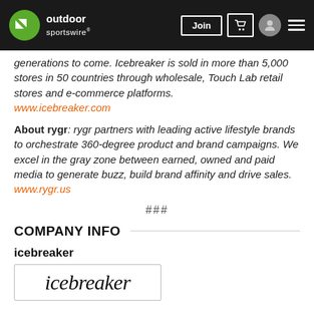outdoor sportswire — navigation bar with Join, cart, user, and menu buttons
generations to come. Icebreaker is sold in more than 5,000 stores in 50 countries through wholesale, Touch Lab retail stores and e-commerce platforms. www.icebreaker.com
About rygr: rygr partners with leading active lifestyle brands to orchestrate 360-degree product and brand campaigns. We excel in the gray zone between earned, owned and paid media to generate buzz, build brand affinity and drive sales. www.rygr.us
###
COMPANY INFO
icebreaker
[Figure (logo): icebreaker logo text in italic serif font inside a bordered box]